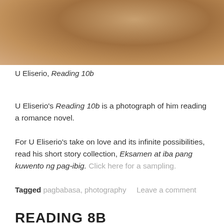[Figure (photo): Photograph of U Eliserio reading a romance novel, showing his arm and torso in a white shirt against a light background]
U Eliserio, Reading 10b
U Eliserio's Reading 10b is a photograph of him reading a romance novel.
For U Eliserio's take on love and its infinite possibilities, read his short story collection, Eksamen at iba pang kuwento ng pag-ibig. Click here for a sampling.
Tagged pagbabasa, photography    Leave a comment
READING 8B